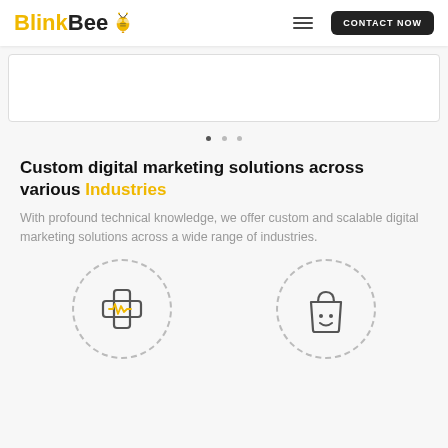[Figure (logo): BlinkBee logo with bee icon in yellow/black]
[Figure (screenshot): Navigation bar with hamburger menu and CONTACT NOW button]
[Figure (other): Carousel placeholder white box with border]
[Figure (other): Carousel pagination dots]
Custom digital marketing solutions across various Industries
With profound technical knowledge, we offer custom and scalable digital marketing solutions across a wide range of industries.
[Figure (illustration): Medical/healthcare icon (cross with heartbeat line) inside dashed circle]
[Figure (illustration): Shopping bag with smiley face icon inside dashed circle]